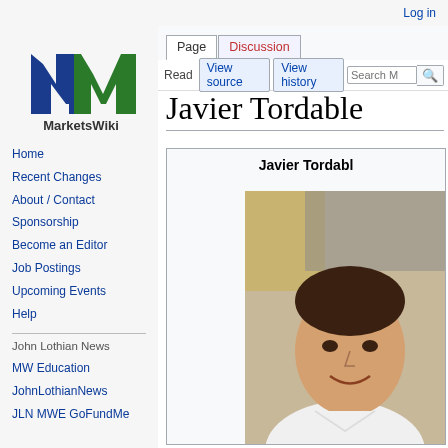Log in
[Figure (logo): MarketsWiki logo — stylized MW letters in blue and green with 'MarketsWiki' text below]
Home
Recent Changes
About / Contact
Sponsorship
Become an Editor
Job Postings
Upcoming Events
Help
John Lothian News
MW Education
JohnLothianNews
JLN MWE GoFundMe
Javier Tordable
[Figure (photo): Photo of Javier Tordable — a smiling man in a white shirt, cropped at the right edge of the page]
Javier Tordable